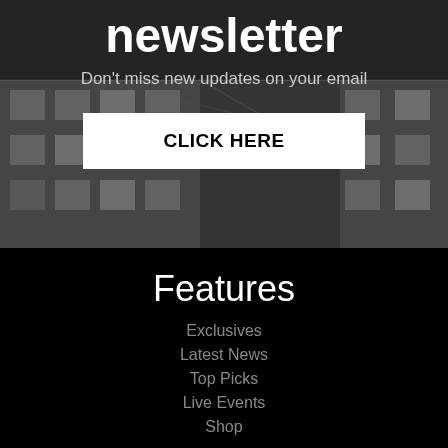[Figure (photo): Dark grayscale background photo of a building structure with scaffolding, blurred and overlaid with dark tones]
newsletter
Don't miss new updates on your email
CLICK HERE
Features
Exclusives
Latest News
Top Picks
Live Events
Shop